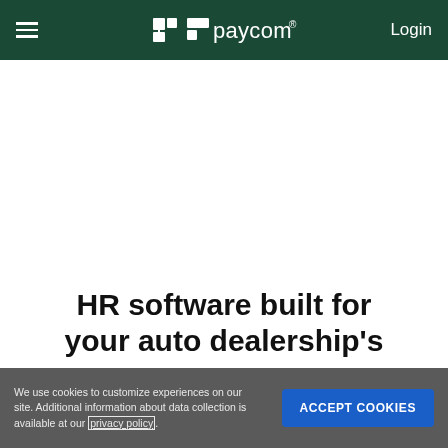paycom — Login
HR software built for your auto dealership's
We use cookies to customize experiences on our site. Additional information about data collection is available at our privacy policy.